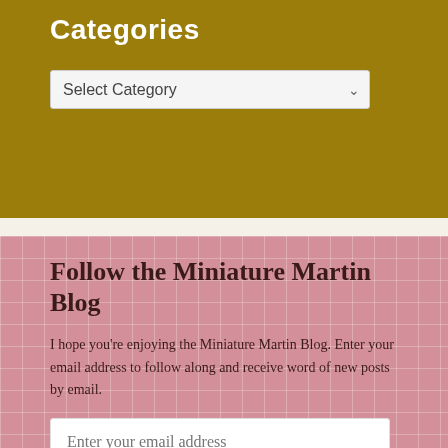Categories
[Figure (screenshot): A dropdown select box with placeholder text 'Select Category' and a dropdown arrow on the right]
Follow the Miniature Martin Blog
I hope you're enjoying the Miniature Martin Blog. Enter your email address to follow along and receive word of new posts by email.
[Figure (screenshot): An email input field with placeholder 'Enter your email address' and a FOLLOW button below it]